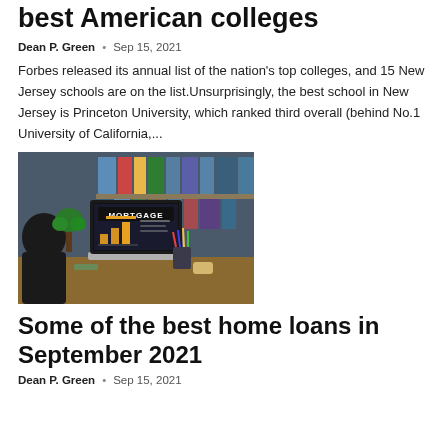best American colleges
Dean P. Green  •  Sep 15, 2021
Forbes released its annual list of the nation's top colleges, and 15 New Jersey schools are on the list.Unsurprisingly, the best school in New Jersey is Princeton University, which ranked third overall (behind No.1 University of California,...
[Figure (photo): Person sitting at a desk with a laptop showing a mortgage chart, coffee cup in hand, binders on shelves in background]
Some of the best home loans in September 2021
Dean P. Green  •  Sep 15, 2021